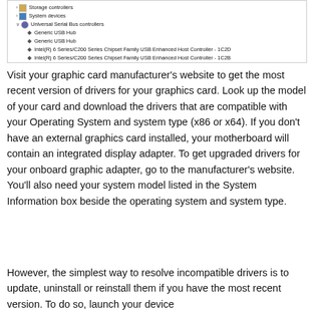[Figure (screenshot): Device Manager tree view showing Storage controllers, System devices, Universal Serial Bus controllers with Generic USB Hub (x2), Intel(R) 6 Series/C200 Series Chipset Family USB Enhanced Host Controller entries, and Unknown USB Device (Device Descriptor Request Failed)]
Visit your graphic card manufacturer's website to get the most recent version of drivers for your graphics card. Look up the model of your card and download the drivers that are compatible with your Operating System and system type (x86 or x64). If you don't have an external graphics card installed, your motherboard will contain an integrated display adapter. To get upgraded drivers for your onboard graphic adapter, go to the manufacturer's website. You'll also need your system model listed in the System Information box beside the operating system and system type.
However, the simplest way to resolve incompatible drivers is to update, uninstall or reinstall them if you have the most recent version. To do so, launch your device